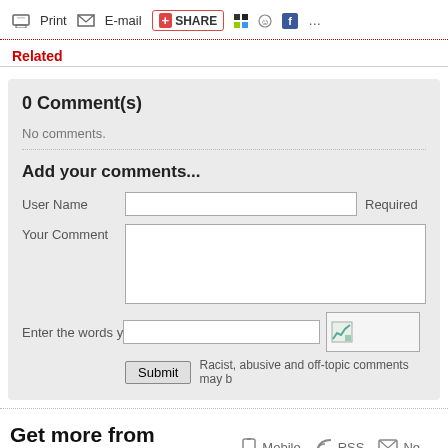[Figure (screenshot): Toolbar with Print, E-mail, Share buttons and social icons]
Related
0 Comment(s)
No comments.
Add your comments...
User Name [input field] Required
Your Comment [textarea]
Enter the words you see: [captcha input] [captcha image] Submit  Racist, abusive and off-topic comments may b
Get more from China.org.cn
Mobile  RSS  Ne...